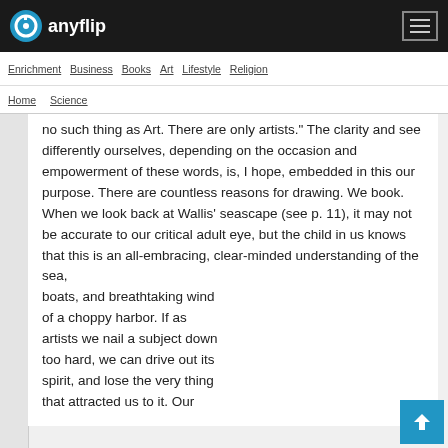anyflip
Enrichment Business Books Art Lifestyle Religion
Home Science
no such thing as Art. There are only artists." The clarity and see differently ourselves, depending on the occasion and empowerment of these words, is, I hope, embedded in this our purpose. There are countless reasons for drawing. We book. When we look back at Wallis' seascape (see p. 11), it may not be accurate to our critical adult eye, but the child in us knows that this is an all-embracing, clear-minded understanding of the sea, boats, and breathtaking wind of a choppy harbor. If as artists we nail a subject down too hard, we can drive out its spirit, and lose the very thing that attracted us to it. Our
BIRD STUDIES